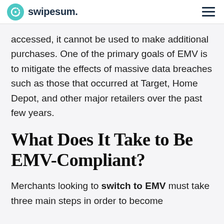swipesum.
accessed, it cannot be used to make additional purchases. One of the primary goals of EMV is to mitigate the effects of massive data breaches such as those that occurred at Target, Home Depot, and other major retailers over the past few years.
What Does It Take to Be EMV-Compliant?
Merchants looking to switch to EMV must take three main steps in order to become